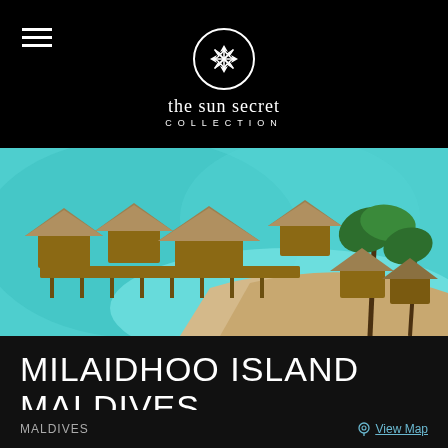[Figure (logo): The Sun Secret Collection logo — circular border with interlocking geometric knot pattern, white on black background, with brand name 'the sun secret' and 'COLLECTION' below]
[Figure (photo): Aerial photograph of Milaidhoo Island Maldives showing overwater bungalows with thatched roofs on turquoise water, connected by a wooden walkway, with tropical palm trees and white sand beach]
MILAIDHOO ISLAND MALDIVES
MALDIVES
View Map